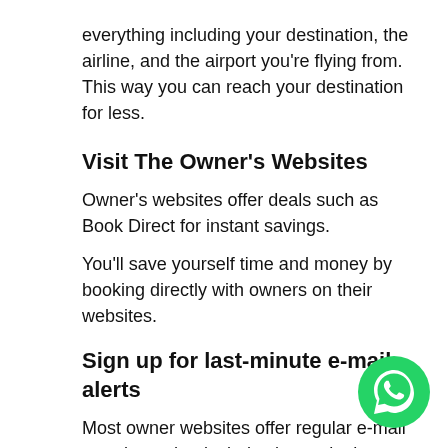everything including your destination, the airline, and the airport you're flying from. This way you can reach your destination for less.
Visit The Owner's Websites
Owner's websites offer deals such as Book Direct for instant savings.
You'll save yourself time and money by booking directly with owners on their websites.
Sign up for last-minute e-mail alerts
Most owner websites offer regular e-mail newsletter that includes latest deals on accommodation, flights, attractions, and more more.